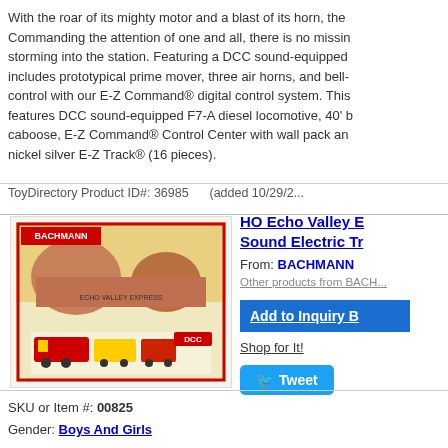With the roar of its mighty motor and a blast of its horn, the Commanding the attention of one and all, there is no missin storming into the station. Featuring a DCC sound-equipped includes prototypical prime mover, three air horns, and bell- control with our E-Z Command® digital control system. This features DCC sound-equipped F7-A diesel locomotive, 40' b caboose, E-Z Command® Control Center with wall pack an nickel silver E-Z Track® (16 pieces).
ToyDirectory Product ID#: 36985     (added 10/29/2...
[Figure (photo): Box art image of HO Echo Valley Express train set by Bachmann, showing red and yellow locomotive and train cars]
HO Echo Valley E... Sound Electric Tr...
From: BACHMANN
Other products from BACH...
Add to Inquiry B...
Shop for It!
Tweet
SKU or Item #: 00825
Gender: Boys And Girls